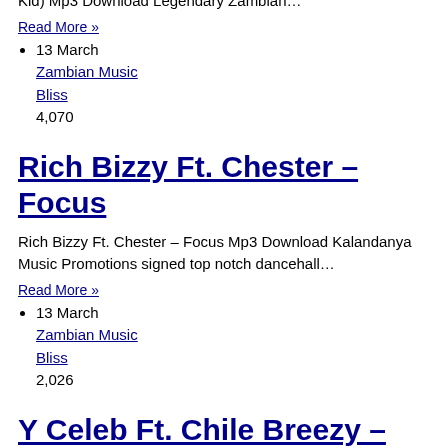Kid) Mp3 Download Legendary Zambian…
Read More »
13 March
Zambian Music Bliss
4,070
Rich Bizzy Ft. Chester – Focus
Rich Bizzy Ft. Chester – Focus Mp3 Download Kalandanya Music Promotions signed top notch dancehall…
Read More »
13 March
Zambian Music Bliss
2,026
Y Celeb Ft. Chile Breezy – Weakness
Y Celeb Ft. Chile Breezy – Weakness Mp3 Download World Wide Music C.E.O who is…